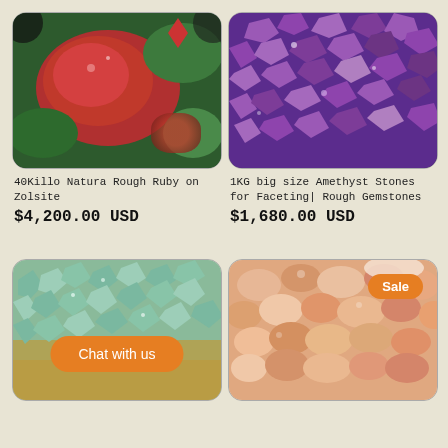[Figure (photo): Photo of rough ruby stones on zoisite - red and green mineral rocks]
[Figure (photo): Photo of purple amethyst gemstones scattered together]
40Killo Natura Rough Ruby on Zolsite
$4,200.00 USD
1KG big size Amethyst Stones for Faceting| Rough Gemstones
$1,680.00 USD
[Figure (photo): Photo of aquamarine rough gemstones with orange chat button overlay]
[Figure (photo): Photo of peach/salmon colored rough gemstones with Sale badge]